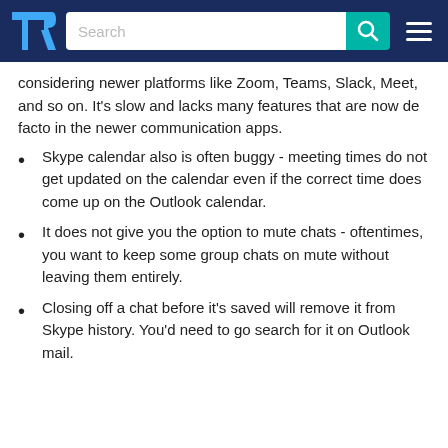TrustRadius - Search bar header
considering newer platforms like Zoom, Teams, Slack, Meet, and so on. It's slow and lacks many features that are now de facto in the newer communication apps.
Skype calendar also is often buggy - meeting times do not get updated on the calendar even if the correct time does come up on the Outlook calendar.
It does not give you the option to mute chats - oftentimes, you want to keep some group chats on mute without leaving them entirely.
Closing off a chat before it's saved will remove it from Skype history. You'd need to go search for it on Outlook mail.